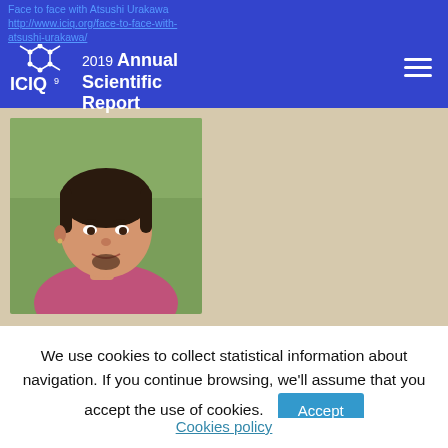Face to face with Atsushi Urakawa http://www.iciq.org/face-to-face-with-atsushi-urakawa/
ICIQ 2019 Annual Scientific Report
[Figure (photo): Portrait photo of Atsushi Urakawa, a young Asian man with short dark hair and goatee, wearing a pink/magenta shirt, outdoors with green background]
We use cookies to collect statistical information about navigation. If you continue browsing, we'll assume that you accept the use of cookies.
Accept
Cookies policy